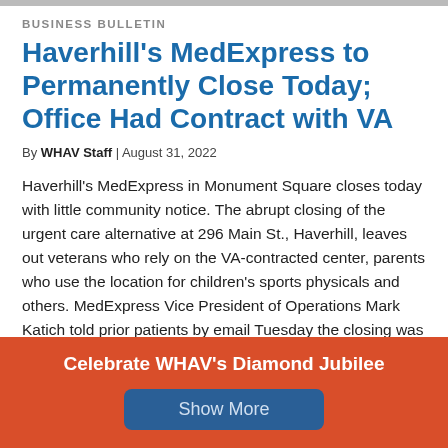BUSINESS BULLETIN
Haverhill’s MedExpress to Permanently Close Today; Office Had Contract with VA
By WHAV Staff | August 31, 2022
Haverhill’s MedExpress in Monument Square closes today with little community notice. The abrupt closing of the urgent care alternative at 296 Main St., Haverhill, leaves out veterans who rely on the VA-contracted center, parents who use the location for children’s sports physicals and others. MedExpress Vice President of Operations Mark Katich told prior patients by email Tuesday the closing was a “difficult decision.”
“We have greatly valued the privilege of providing health care to
[Figure (infographic): Orange/red advertisement banner with white bold text 'Celebrate WHAV’s Diamond Jubilee' and a blue 'Show More' button below.]